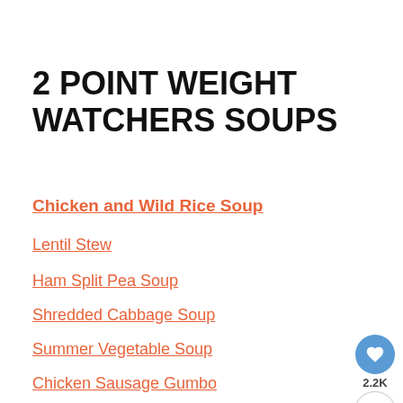2 POINT WEIGHT WATCHERS SOUPS
Chicken and Wild Rice Soup
Lentil Stew
Ham Split Pea Soup
Shredded Cabbage Soup
Summer Vegetable Soup
Chicken Sausage Gumbo
Hamburger Stew
3 Bean Turkey Sausage Chili
Spicy Cajun Soup